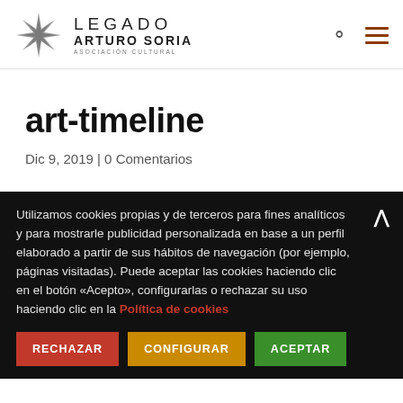LEGADO ARTURO SORIA ASOCIACIÓN CULTURAL
art-timeline
Dic 9, 2019 | 0 Comentarios
Utilizamos cookies propias y de terceros para fines analíticos y para mostrarle publicidad personalizada en base a un perfil elaborado a partir de sus hábitos de navegación (por ejemplo, páginas visitadas). Puede aceptar las cookies haciendo clic en el botón «Acepto», configurarlas o rechazar su uso haciendo clic en la Política de cookies